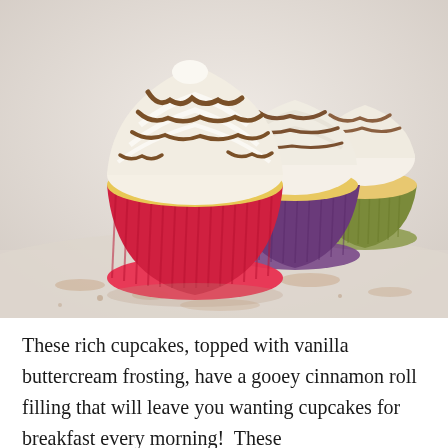[Figure (photo): Three cupcakes in colorful silicone baking cups (red in front, purple in middle, green/olive in back) topped with white vanilla buttercream frosting drizzled with cinnamon-colored icing, arranged on a surface dusted with cinnamon powder, light background.]
These rich cupcakes, topped with vanilla buttercream frosting, have a gooey cinnamon roll filling that will leave you wanting cupcakes for breakfast every morning!  These